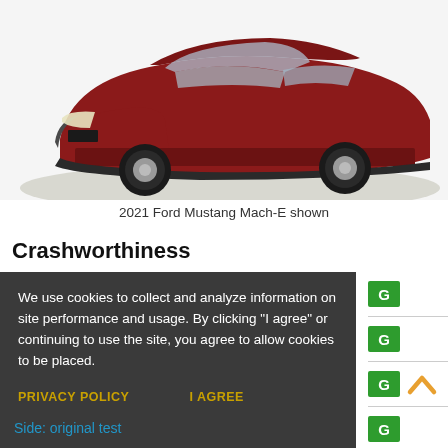[Figure (photo): Red 2021 Ford Mustang Mach-E SUV on a circular display platform, side/front 3/4 view, white background]
2021 Ford Mustang Mach-E shown
Crashworthiness
We use cookies to collect and analyze information on site performance and usage. By clicking "I agree" or continuing to use the site, you agree to allow cookies to be placed.

PRIVACY POLICY   I AGREE
Side: original test